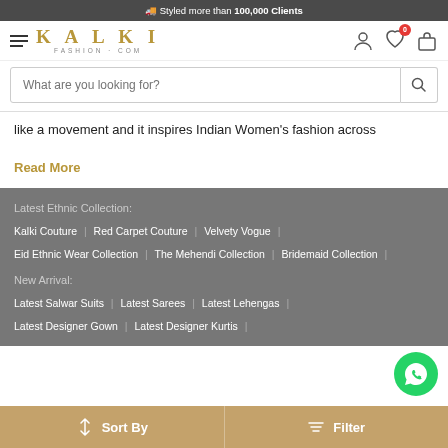🚚 Styled more than 100,000 Clients
[Figure (logo): Kalki Fashion.com logo with hamburger menu]
What are you looking for?
like a movement and it inspires Indian Women's fashion across
Read More
Latest Ethnic Collection:
Kalki Couture | Red Carpet Couture | Velvety Vogue |
Eid Ethnic Wear Collection | The Mehendi Collection | Bridemaid Collection |
New Arrival:
Latest Salwar Suits | Latest Sarees | Latest Lehengas |
Latest Designer Gown | Latest Designer Kurtis |
↕ Sort By   ≡ Filter